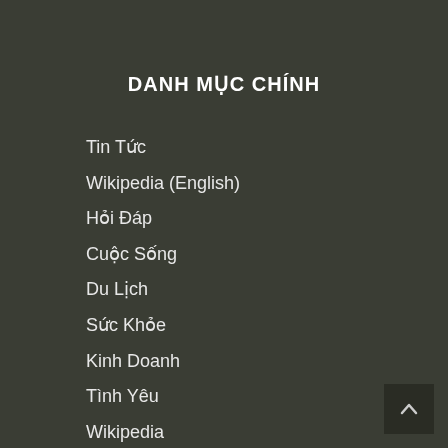DANH MỤC CHÍNH
Tin Tức
Wikipedia (English)
Hỏi Đáp
Cuộc Sống
Du Lịch
Sức Khỏe
Kinh Doanh
Tình Yêu
Wikipedia
Nuôi Con
Làm Đẹp